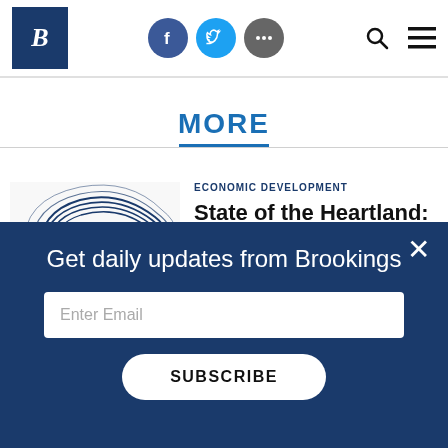Brookings Institution website header with logo, social icons (Facebook, Twitter, more), search and menu
MORE
[Figure (illustration): USA map outline filled with concentric heart-shaped fingerprint lines in blue and green]
ECONOMIC DEVELOPMENT
State of the Heartland: Factbook 2018
Mark Muro, Jacob Whiton, Robert Maxim,
Get daily updates from Brookings
Enter Email
SUBSCRIBE